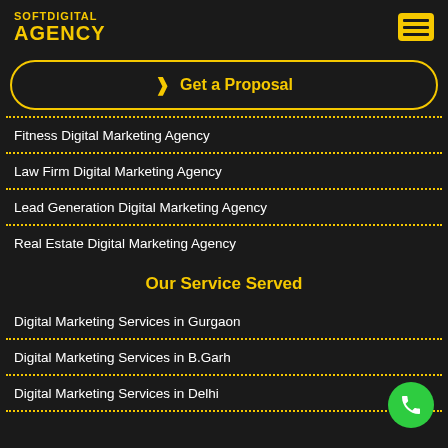SOFTDIGITAL AGENCY
Get a Proposal
Fitness Digital Marketing Agency
Law Firm Digital Marketing Agency
Lead Generation Digital Marketing Agency
Real Estate Digital Marketing Agency
Our Service Served
Digital Marketing Services in Gurgaon
Digital Marketing Services in B.Garh
Digital Marketing Services in Delhi